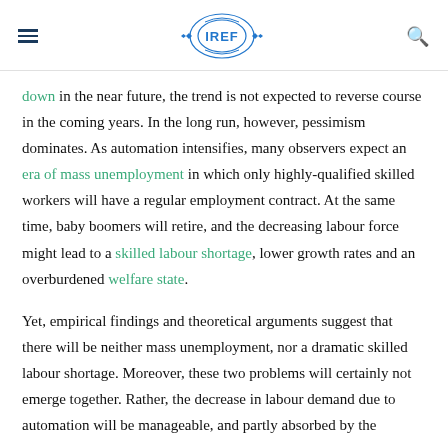IREF logo with menu and search icons
down in the near future, the trend is not expected to reverse course in the coming years. In the long run, however, pessimism dominates. As automation intensifies, many observers expect an era of mass unemployment in which only highly-qualified skilled workers will have a regular employment contract. At the same time, baby boomers will retire, and the decreasing labour force might lead to a skilled labour shortage, lower growth rates and an overburdened welfare state.
Yet, empirical findings and theoretical arguments suggest that there will be neither mass unemployment, nor a dramatic skilled labour shortage. Moreover, these two problems will certainly not emerge together. Rather, the decrease in labour demand due to automation will be manageable, and partly absorbed by the